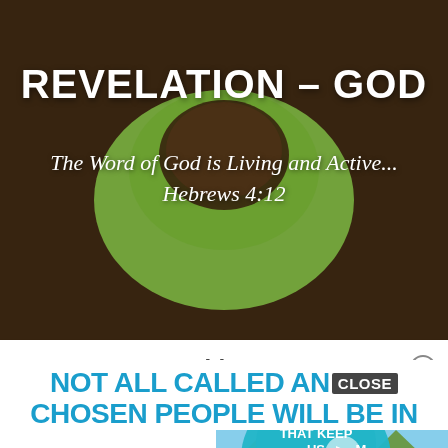REVELATION – GOD
The Word of God is Living and Active... Hebrews 4:12
≡ Menu
[Figure (screenshot): Video advertisement thumbnail showing text '3 THINGS THAT KEEP US FROM JESUS' with a play button over a scenic landscape, branded 'etopia']
BLOG-1
NOT ALL CALLED AND CHOSEN PEOPLE WILL BE IN